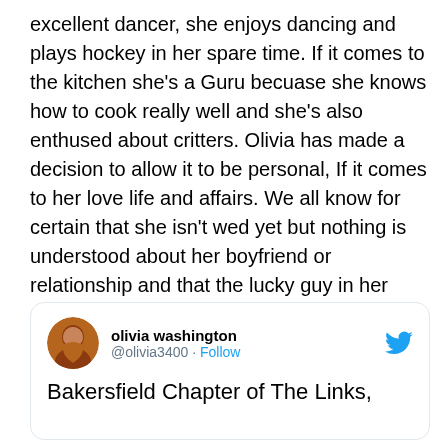excellent dancer, she enjoys dancing and plays hockey in her spare time. If it comes to the kitchen she's a Guru becuase she knows how to cook really well and she's also enthused about critters. Olivia has made a decision to allow it to be personal, If it comes to her love life and affairs. We all know for certain that she isn't wed yet but nothing is understood about her boyfriend or relationship and that the lucky guy in her entire life is. In the minute Olivia is on her way to the summit of her profession, taking her job so severe as she's following the footsteps of her dad to arrive at the very top.
[Figure (screenshot): Tweet card showing olivia washington @olivia3400 with Follow link and Twitter bird icon, with text starting 'Bakersfield Chapter of The Links,']